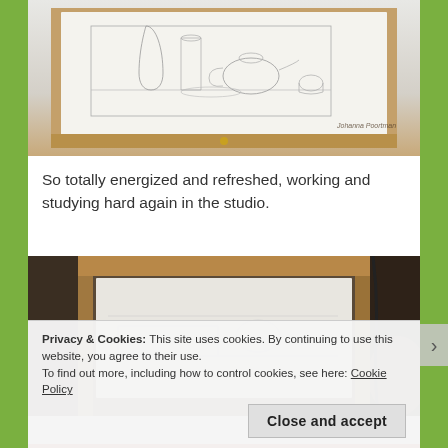[Figure (photo): Photo of an easel with a white canvas/paper showing a pencil sketch of still life objects (teapot, cups, dishes) on a wooden easel. Watermark reads 'Johanna Poortman ©' in the bottom right.]
So totally energized and refreshed, working and studying hard again in the studio.
[Figure (photo): Photo of a wooden easel with a large white canvas/paper showing a faint pencil sketch. Dark room background with lamp light visible on the right.]
Privacy & Cookies: This site uses cookies. By continuing to use this website, you agree to their use.
To find out more, including how to control cookies, see here: Cookie Policy
Close and accept